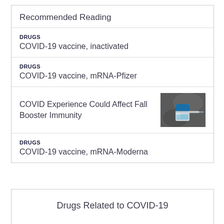Recommended Reading
DRUGS
COVID-19 vaccine, inactivated
DRUGS
COVID-19 vaccine, mRNA-Pfizer
COVID Experience Could Affect Fall Booster Immunity
[Figure (photo): Close-up photo of a vaccine vial and syringe with blue cap]
DRUGS
COVID-19 vaccine, mRNA-Moderna
Drugs Related to COVID-19